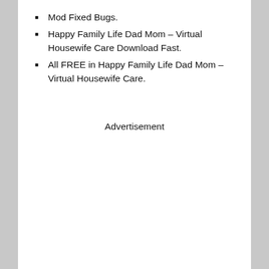Mod Fixed Bugs.
Happy Family Life Dad Mom – Virtual Housewife Care Download Fast.
All FREE in Happy Family Life Dad Mom – Virtual Housewife Care.
Advertisement